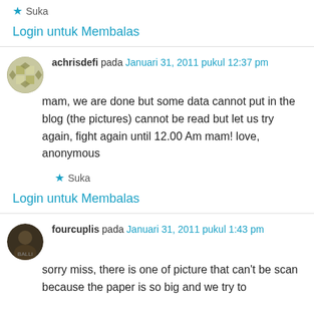★ Suka
Login untuk Membalas
achrisdefi pada Januari 31, 2011 pukul 12:37 pm
mam, we are done but some data cannot put in the blog (the pictures) cannot be read but let us try again, fight again until 12.00 Am mam! love, anonymous
★ Suka
Login untuk Membalas
fourcuplis pada Januari 31, 2011 pukul 1:43 pm
sorry miss, there is one of picture that can't be scan because the paper is so big and we try to